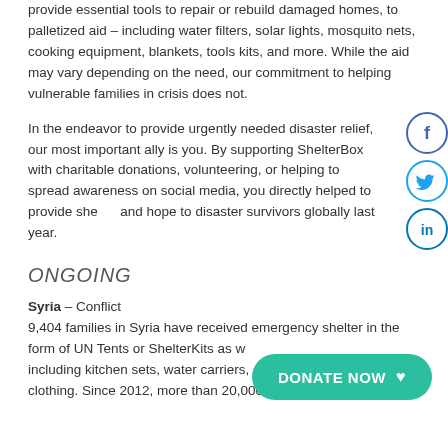provide essential tools to repair or rebuild damaged homes, to palletized aid – including water filters, solar lights, mosquito nets, cooking equipment, blankets, tools kits, and more. While the aid may vary depending on the need, our commitment to helping vulnerable families in crisis does not.
In the endeavor to provide urgently needed disaster relief, our most important ally is you. By supporting ShelterBox with charitable donations, volunteering, or helping to spread awareness on social media, you directly helped to provide shelter and hope to disaster survivors globally last year.
ONGOING
Syria – Conflict
9,404 families in Syria have received emergency shelter in the form of UN Tents or ShelterKits as well as additional items including kitchen sets, water carriers, solar lights, mattresses and clothing. Since 2012, more than 20,000